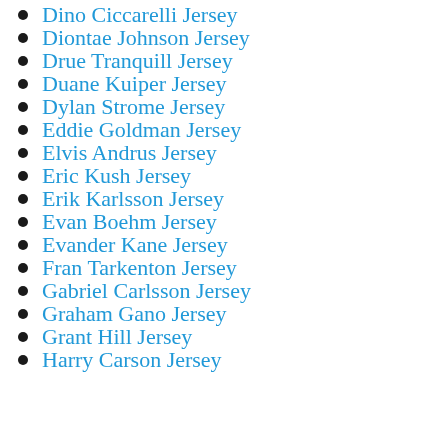Dino Ciccarelli Jersey
Diontae Johnson Jersey
Drue Tranquill Jersey
Duane Kuiper Jersey
Dylan Strome Jersey
Eddie Goldman Jersey
Elvis Andrus Jersey
Eric Kush Jersey
Erik Karlsson Jersey
Evan Boehm Jersey
Evander Kane Jersey
Fran Tarkenton Jersey
Gabriel Carlsson Jersey
Graham Gano Jersey
Grant Hill Jersey
Harry Carson Jersey